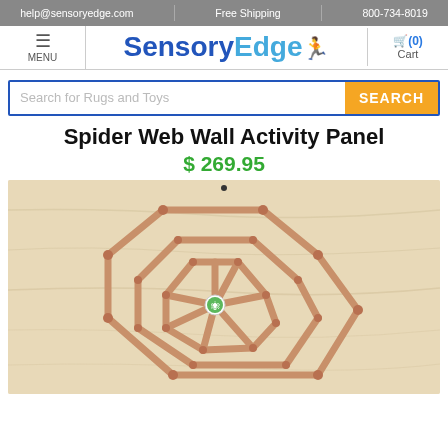help@sensoryedge.com | Free Shipping | 800-734-8019
SensoryEdge
MENU | Cart (0)
Search for Rugs and Toys | SEARCH
Spider Web Wall Activity Panel
$ 269.95
[Figure (photo): Close-up photo of the Spider Web Wall Activity Panel showing a wooden spider web structure with geometric hexagonal shapes on a light wood panel background, with a small green spider bead in the center.]